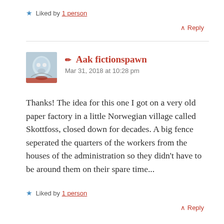★ Liked by 1 person
^ Reply
✏ Aak fictionspawn
Mar 31, 2018 at 10:28 pm
Thanks! The idea for this one I got on a very old paper factory in a little Norwegian village called Skottfoss, closed down for decades. A big fence seperated the quarters of the workers from the houses of the administration so they didn't have to be around them on their spare time...
★ Liked by 1 person
^ Reply